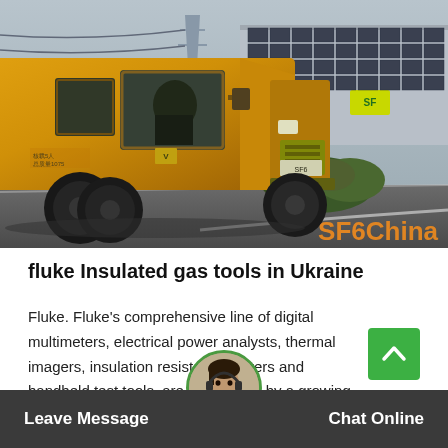[Figure (photo): Yellow utility truck (Isuzu-style cab) parked on a road near a large building with solar panels in the background. Watermark reads 'SF6China' in orange.]
fluke Insulated gas tools in Ukraine
Fluke. Fluke's comprehensive line of digital multimeters, electrical power analysts, thermal imagers, insulation resistance testers and handheld test tools, are being used by a growing number of service technicians, plant engineers and inspection and maintenance...
Leave Message   Chat Online